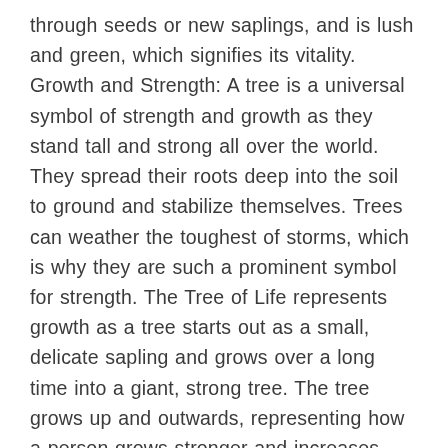through seeds or new saplings, and is lush and green, which signifies its vitality. Growth and Strength: A tree is a universal symbol of strength and growth as they stand tall and strong all over the world. They spread their roots deep into the soil to ground and stabilize themselves. Trees can weather the toughest of storms, which is why they are such a prominent symbol for strength. The Tree of Life represents growth as a tree starts out as a small, delicate sapling and grows over a long time into a giant, strong tree. The tree grows up and outwards, representing how a person grows stronger and increases their knowledge and experiences throughout their lifetime. Individuality: The Tree of Life symbolizes one's individuality as trees are all unique with their branches sprouting at different points and in different directions. It symbolizes a person's personal growth into a unique human being as different experiences shape them into who they are. Over time, trees gain more unique